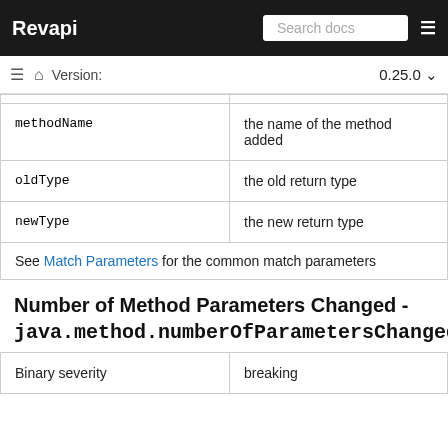Revapi
| methodName | the name of the method added |
| oldType | the old return type |
| newType | the new return type |
| See Match Parameters for the common match parameters |  |
Number of Method Parameters Changed - java.method.numberOfParametersChanged
| Binary severity | breaking |
| --- | --- |